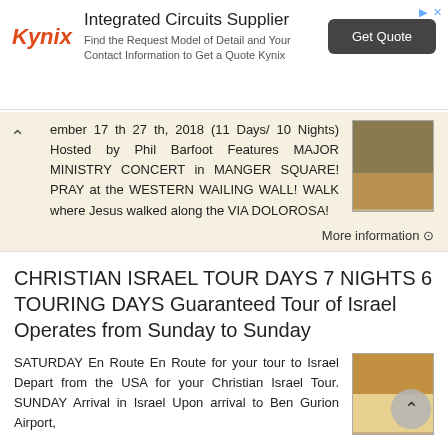[Figure (other): Kynix Integrated Circuits Supplier advertisement banner with logo, description text, and Get Quote button]
ember 17 th 27 th, 2018 (11 Days 10 Nights) Hosted by Phil Barfoot Features MAJOR MINISTRY CONCERT in MANGER SQUARE! PRAY at the WESTERN WAILING WALL! WALK where Jesus walked along the VIA DOLOROSA!
More information →
CHRISTIAN ISRAEL TOUR DAYS 7 NIGHTS 6 TOURING DAYS Guaranteed Tour of Israel Operates from Sunday to Sunday
SATURDAY En Route En Route for your tour to Israel Depart from the USA for your Christian Israel Tour. SUNDAY Arrival in Israel Upon arrival to Ben Gurion Airport,